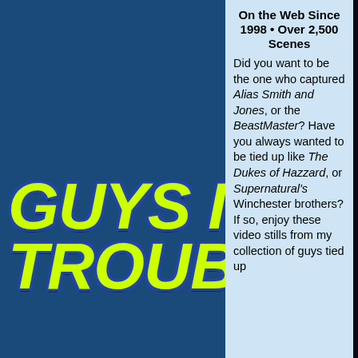GUYS IN TROUBLE
On the Web Since 1998 • Over 2,500 Scenes Did you want to be the one who captured Alias Smith and Jones, or the BeastMaster? Have you always wanted to be tied up like The Dukes of Hazzard, or Supernatural's Winchester brothers? If so, enjoy these video stills from my collection of guys tied up...